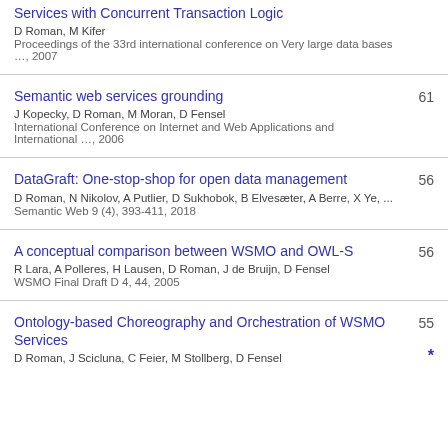Services with Concurrent Transaction Logic
D Roman, M Kifer
Proceedings of the 33rd international conference on Very large data bases …, 2007
Semantic web services grounding
J Kopecky, D Roman, M Moran, D Fensel
International Conference on Internet and Web Applications and International …, 2006
61
DataGraft: One-stop-shop for open data management
D Roman, N Nikolov, A Putlier, D Sukhobok, B Elvesæter, A Berre, X Ye, ...
Semantic Web 9 (4), 393-411, 2018
56
A conceptual comparison between WSMO and OWL-S
R Lara, A Polleres, H Lausen, D Roman, J de Bruijn, D Fensel
WSMO Final Draft D 4, 44, 2005
56
Ontology-based Choreography and Orchestration of WSMO Services
D Roman, J Scicluna, C Feier, M Stollberg, D Fensel
55 *